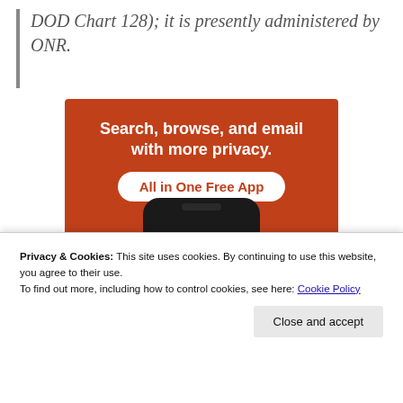DOD Chart 128); it is presently administered by ONR.
[Figure (screenshot): DuckDuckGo advertisement showing orange background with text 'Search, browse, and email with more privacy. All in One Free App' and a smartphone displaying the DuckDuckGo logo]
Privacy & Cookies: This site uses cookies. By continuing to use this website, you agree to their use.
To find out more, including how to control cookies, see here: Cookie Policy
Close and accept